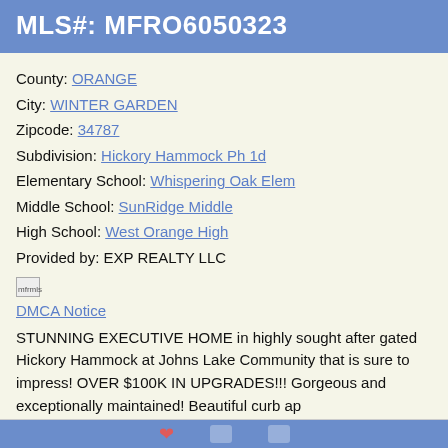MLS#: MFRO6050323
County: ORANGE
City: WINTER GARDEN
Zipcode: 34787
Subdivision: Hickory Hammock Ph 1d
Elementary School: Whispering Oak Elem
Middle School: SunRidge Middle
High School: West Orange High
Provided by: EXP REALTY LLC
[Figure (logo): mfrmls logo image]
DMCA Notice
STUNNING EXECUTIVE HOME in highly sought after gated Hickory Hammock at Johns Lake Community that is sure to impress! OVER $100K IN UPGRADES!!! Gorgeous and exceptionally maintained! Beautiful curb ap
Listing Details and 76 Additional Pictures
Request more information about this listing.